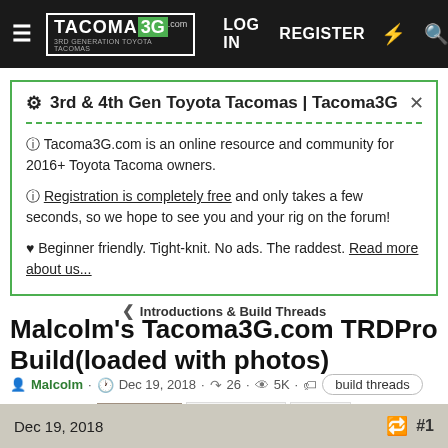TACOMA3G.com | LOG IN | REGISTER
⚙ 3rd & 4th Gen Toyota Tacomas | Tacoma3G
🛈 Tacoma3G.com is an online resource and community for 2016+ Toyota Tacoma owners.
🛈 Registration is completely free and only takes a few seconds, so we hope to see you and your rig on the forum!
♥ Beginner friendly. Tight-knit. No ads. The raddest. Read more about us...
< Introductions & Build Threads
Malcolm's Tacoma3G.com TRDPro Build(loaded with photos)
Malcolm · Dec 19, 2018 · 26 · 5K · build threads
1 of 2  Next  ▶▶
Dec 19, 2018  #1